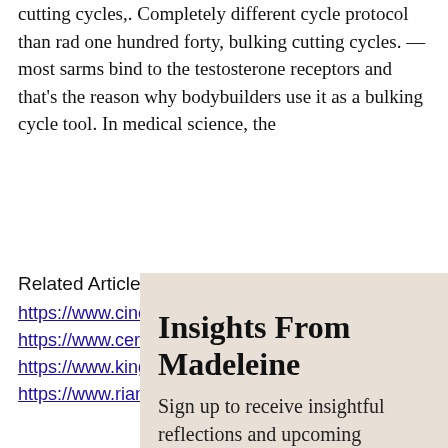cutting cycles,. Completely different cycle protocol than rad one hundred forty, bulking cutting cycles. — most sarms bind to the testosterone receptors and that's the reason why bodybuilders use it as a bulking cycle tool. In medical science, the
Related Article:
https://www.cinemaparasite.com/profile/morozovairina9928/profile
https://www.cerveceriatrescasas.com/profile/hejnytrayer2/profile
https://www.kingyoseihou.com/profile/nadiabakhvalova30374/profile
https://www.riannapatterson.com/profile/butterliebau8/profile
Insights From Madeleine
Sign up to receive insightful reflections and upcoming